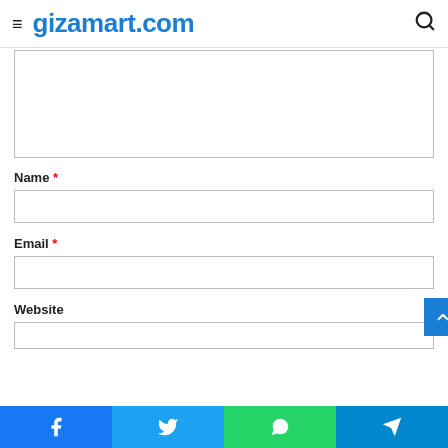gizamart.com
[Figure (screenshot): Comment form text area (empty), bordered input box]
Name *
[Figure (screenshot): Name input field (empty), bordered text input]
Email *
[Figure (screenshot): Email input field (empty), bordered text input]
Website
[Figure (screenshot): Website input field (empty), bordered text input]
Facebook | Twitter | WhatsApp | Telegram